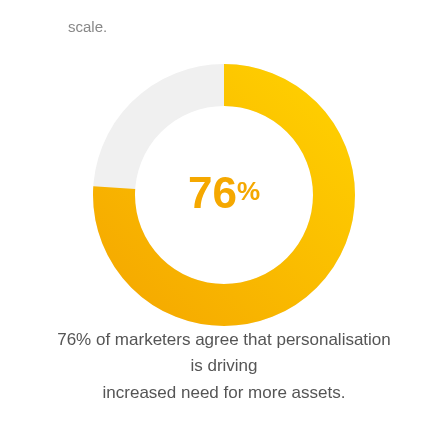scale.
[Figure (donut-chart): 76% of marketers agree that personalisation is driving increased need for more assets.]
76% of marketers agree that personalisation is driving increased need for more assets.